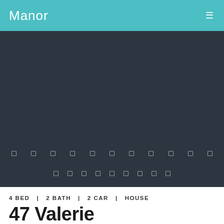Manor
[Figure (photo): Dark background property photo area with navigation dots]
4 BED  |  2 BATH  |  2 CAR  |  HOUSE
47 Valerie